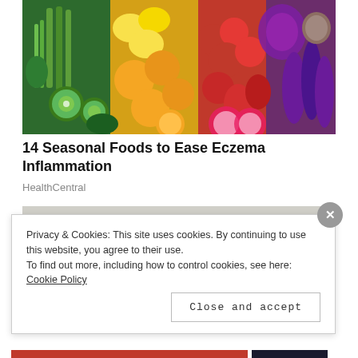[Figure (photo): Colorful assortment of fresh fruits and vegetables arranged in a rainbow pattern — green vegetables (celery, asparagus, kiwi, peppers), yellow/orange fruits (lemons, oranges, mandarins), red tomatoes, red peppers, purple eggplant and red cabbage]
14 Seasonal Foods to Ease Eczema Inflammation
HealthCentral
[Figure (photo): Partial view of a dark navy blue cowboy/wide-brim hat on a light gray background]
Privacy & Cookies: This site uses cookies. By continuing to use this website, you agree to their use.
To find out more, including how to control cookies, see here: Cookie Policy
Close and accept